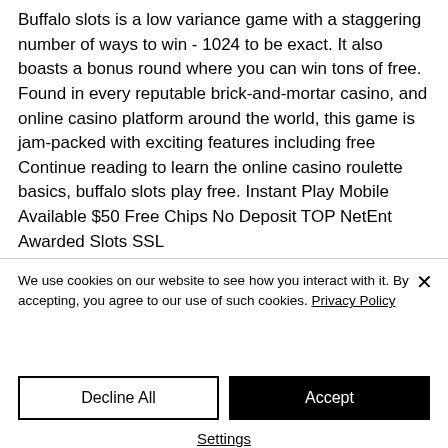Buffalo slots is a low variance game with a staggering number of ways to win - 1024 to be exact. It also boasts a bonus round where you can win tons of free. Found in every reputable brick-and-mortar casino, and online casino platform around the world, this game is jam-packed with exciting features including free
Continue reading to learn the online casino roulette basics, buffalo slots play free. Instant Play Mobile Available $50 Free Chips No Deposit TOP NetEnt Awarded Slots SSL
We use cookies on our website to see how you interact with it. By accepting, you agree to our use of such cookies. Privacy Policy
Decline All
Accept
Settings